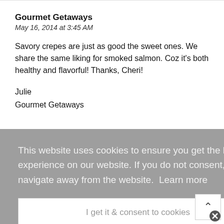Gourmet Getaways
May 16, 2014 at 3:45 AM
Savory crepes are just as good the sweet ones. We share the same liking for smoked salmon. Coz it's both healthy and flavorful! Thanks, Cheri!
Julie
Gourmet Getaways
This website uses cookies to ensure you get the best experience on our website. If you do not consent, please navigate away from the website.  Learn more
I get it & consent to cookies
careful about over fishing. So when it is